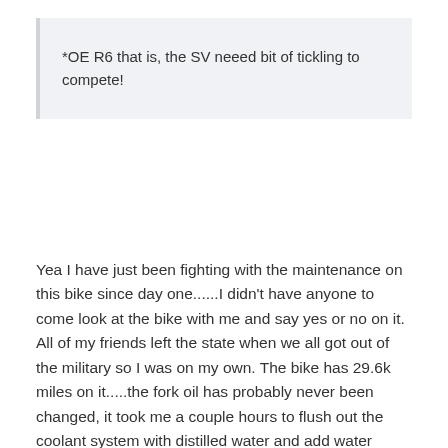*OE R6 that is, the SV neeed bit of tickling to compete!
Yea I have just been fighting with the maintenance on this bike since day one......I didn't have anyone to come look at the bike with me and say yes or no on it. All of my friends left the state when we all got out of the military so I was on my own. The bike has 29.6k miles on it.....the fork oil has probably never been changed, it took me a couple hours to flush out the coolant system with distilled water and add water wetter. Cleaning the reseviore took me an hour alone.......It probably needs new spark plugs, valve adjustment, the fork oil and seals need to be replaced, brakes need to be flushed out......I just got to the point